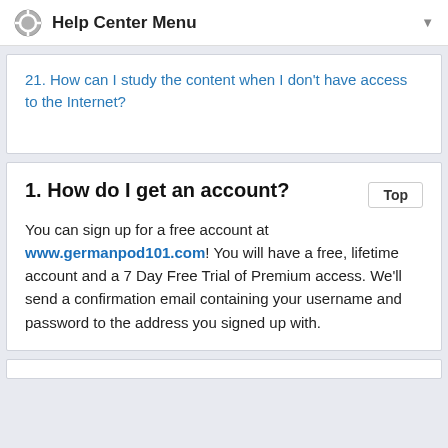Help Center Menu
21. How can I study the content when I don't have access to the Internet?
1. How do I get an account?
You can sign up for a free account at www.germanpod101.com! You will have a free, lifetime account and a 7 Day Free Trial of Premium access. We'll send a confirmation email containing your username and password to the address you signed up with.